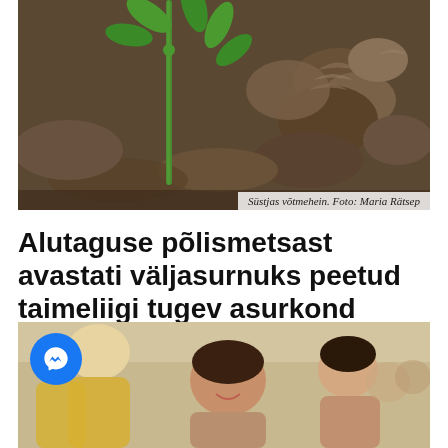[Figure (photo): Close-up photo of a small green plant sprout (Süstjas võtmehein) growing from forest floor covered with pine cones and dead leaves.]
Süstjas võtmehein. Foto: Maria Rätsep
Alutaguse põlismetsast avastati väljasurnuks peetud taimeliigi tugev asurkond
[Figure (photo): Photo of people at an indoor event, several people smiling and embracing, wearing yellow and blue clothing. A Facebook Messenger icon is overlaid on the bottom-left.]